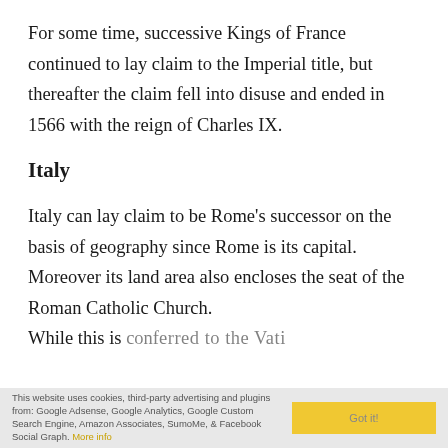For some time, successive Kings of France continued to lay claim to the Imperial title, but thereafter the claim fell into disuse and ended in 1566 with the reign of Charles IX.
Italy
Italy can lay claim to be Rome's successor on the basis of geography since Rome is its capital. Moreover its land area also encloses the seat of the Roman Catholic Church. While this is...
This website uses cookies, third-party advertising and plugins from: Google Adsense, Google Analytics, Google Custom Search Engine, Amazon Associates, SumoMe, & Facebook Social Graph. More info